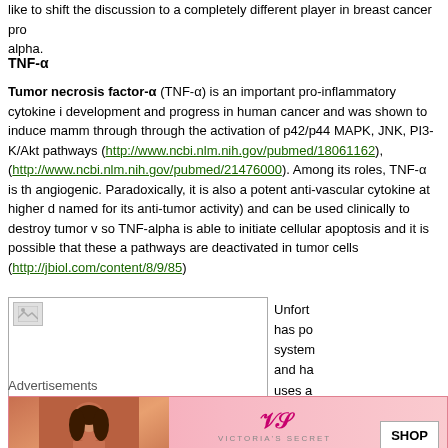like to shift the discussion to a completely different player in breast cancer pro... alpha.
TNF-α
Tumor necrosis factor-α (TNF-α) is an important pro-inflammatory cytokine i... development and progress in human cancer and was shown to induce mamm... through through the activation of p42/p44 MAPK, JNK, PI3-K/Akt pathways (http://www.ncbi.nlm.nih.gov/pubmed/18061162), (http://www.ncbi.nlm.nih.gov/pubmed/21476000). Among its roles, TNF-α is th... angiogenic. Paradoxically, it is also a potent anti-vascular cytokine at higher d... named for its anti-tumor activity) and can be used clinically to destroy tumor v... so TNF-alpha is able to initiate cellular apoptosis and it is possible that these a... pathways are deactivated in tumor cells (http://jbiol.com/content/8/9/85)
[Figure (photo): Broken image placeholder in a bordered box]
Unfort... has po... system... and ha... uses a... w...
Advertisements
[Figure (photo): Victoria's Secret advertisement banner with model and 'SHOP THE COLLECTION' text]